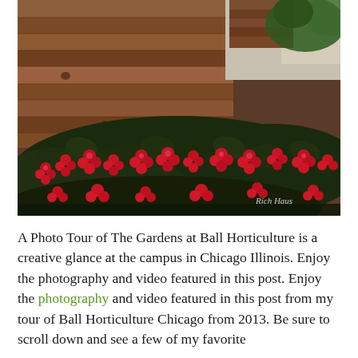[Figure (photo): Photograph of red flowering begonias with dark leaves growing against a weathered wooden plank wall/fence. A watermark reading 'Rich Haus' appears in the lower right corner.]
A Photo Tour of The Gardens at Ball Horticulture is a creative glance at the campus in Chicago Illinois. Enjoy the photography and video featured in this post. Enjoy the photography and video featured in this post from my tour of Ball Horticulture Chicago from 2013. Be sure to scroll down and see a few of my favorite